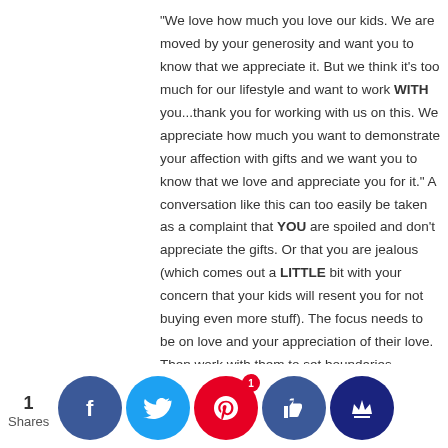"We love how much you love our kids. We are moved by your generosity and want you to know that we appreciate it. But we think it's too much for our lifestyle and want to work WITH you...thank you for working with us on this. We appreciate how much you want to demonstrate your affection with gifts and we want you to know that we love and appreciate you for it." A conversation like this can too easily be taken as a complaint that YOU are spoiled and don't appreciate the gifts. Or that you are jealous (which comes out a LITTLE bit with your concern that your kids will resent you for not buying even more stuff). The focus needs to be on love and your appreciation of their love. Then work with them to set boundaries.
In fact I wouldn't focus as much on your standards because: they are grandparents. I had a conversation a number of years ago with a friend who is a grandmother when I was complaining that my mom wouldn't maintain my standards while babysitting. Now I had a point because she was acting as regular care, but my friend told me "Get over it. She's a g[randmother. S]he going [to be] stric[t...] Your [k]id's re[lationship with] her [is] differe[nt] because o[f] my
[Figure (infographic): Social sharing bar with share count showing '1 Shares' on the left, and five circular social media buttons: Facebook (blue), Twitter (light blue), Pinterest (red, with badge showing '1'), a thumbs-up/like button (dark blue), and a crown/bookmark button (dark navy).]